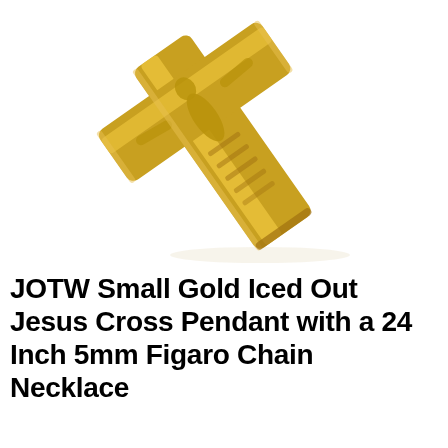[Figure (photo): Close-up photograph of a gold-colored crucifix pendant (Jesus cross) on a white background. The cross is shown at an angle with the lower vertical bar and partial horizontal bar visible, featuring a gold-toned relief figure of Jesus Christ.]
JOTW Small Gold Iced Out Jesus Cross Pendant with a 24 Inch 5mm Figaro Chain Necklace